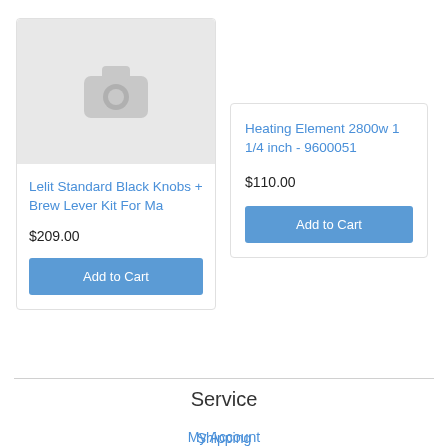[Figure (photo): Product image placeholder with camera icon on gray background]
Lelit Standard Black Knobs + Brew Lever Kit For Ma
$209.00
Add to Cart
Heating Element 2800w 1 1/4 inch - 9600051
$110.00
Add to Cart
Service
My Account
Shipping